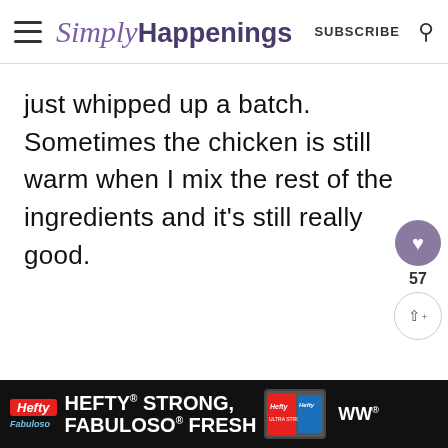Simply Happenings — SUBSCRIBE
just whipped up a batch. Sometimes the chicken is still warm when I mix the rest of the ingredients and it's still really good.
Hefty HEFTY STRONG, FABULOSO FRESH — advertisement